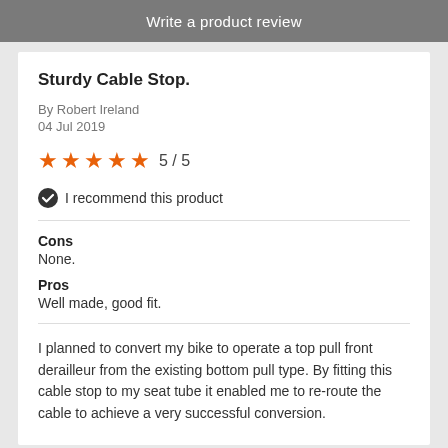Write a product review
Sturdy Cable Stop.
By Robert Ireland
04 Jul 2019
[Figure (other): 5 orange stars rating with text 5 / 5]
I recommend this product
Cons
None.
Pros
Well made, good fit.
I planned to convert my bike to operate a top pull front derailleur from the existing bottom pull type. By fitting this cable stop to my seat tube it enabled me to re-route the cable to achieve a very successful conversion.
Perfect to complete bike restoration